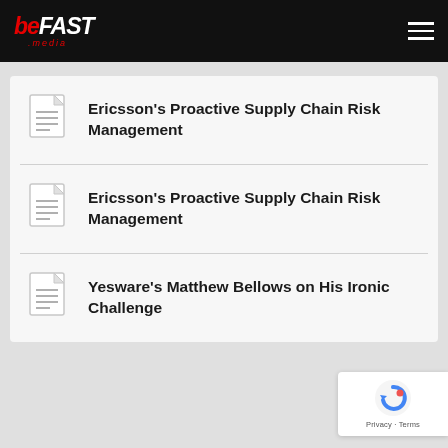BEFAST .media
Ericsson's Proactive Supply Chain Risk Management
Ericsson's Proactive Supply Chain Risk Management
Yesware's Matthew Bellows on His Ironic Challenge